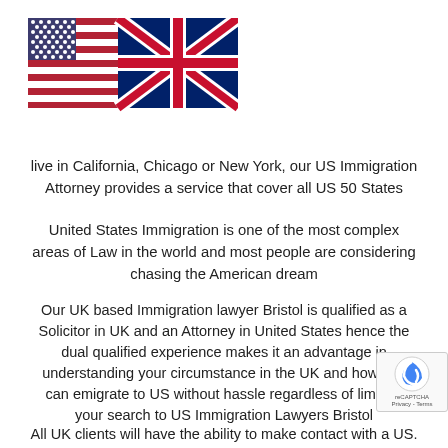[Figure (illustration): US flag and UK Union Jack flag side by side]
live in California, Chicago or New York, our US Immigration Attorney provides a service that cover all US 50 States
United States Immigration is one of the most complex areas of Law in the world and most people are considering chasing the American dream
Our UK based Immigration lawyer Bristol is qualified as a Solicitor in UK and an Attorney in United States hence the dual qualified experience makes it an advantage in understanding your circumstance in the UK and how you can emigrate to US without hassle regardless of limiting your search to US Immigration Lawyers Bristol
All UK clients will have the ability to make contact with a US.